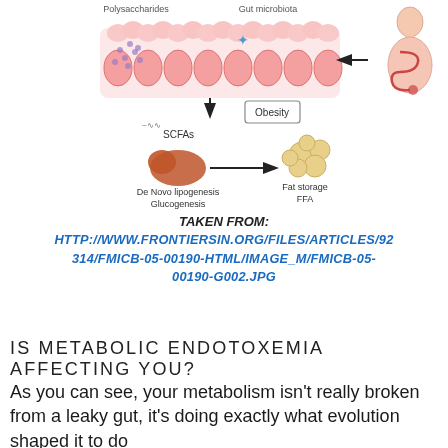[Figure (illustration): Medical diagram showing gut microbiota, intestinal cells, polysaccharides, SCFAs, De Novo lipogenesis, Glucogenesis, fat storage FFA, Obesity label, and arrows indicating metabolic pathway. A human figure with digestive system illustration on the right.]
TAKEN FROM:
HTTP://WWW.FRONTIERSIN.ORG/FILES/ARTICLES/92314/FMICB-05-00190-HTML/IMAGE_M/FMICB-05-00190-G002.JPG
IS METABOLIC ENDOTOXEMIA AFFECTING YOU?
As you can see, your metabolism isn't really broken from a leaky gut, it's doing exactly what evolution shaped it to do